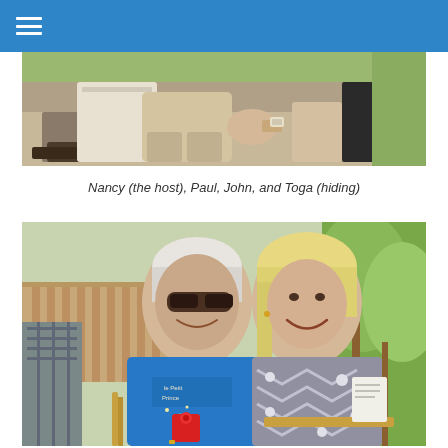[Figure (photo): Cropped photo showing people seated outdoors, legs and lower bodies visible, outdoor setting with chairs]
Nancy (the host), Paul, John, and Toga (hiding)
[Figure (photo): Two people smiling outdoors in a backyard setting. The person on the left wears a blue Le Petit Prince t-shirt and sunglasses, holding a can. The person on the right has blonde hair and wears a grey chevron-patterned scarf/wrap. Trees and wooden fence visible in background.]